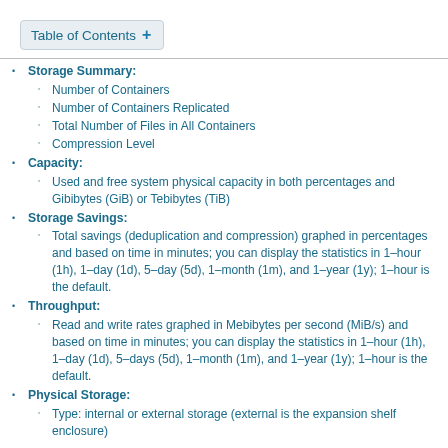Table of Contents +
Storage Summary:
Number of Containers
Number of Containers Replicated
Total Number of Files in All Containers
Compression Level
Capacity:
Used and free system physical capacity in both percentages and Gibibytes (GiB) or Tebibytes (TiB)
Storage Savings:
Total savings (deduplication and compression) graphed in percentages and based on time in minutes; you can display the statistics in 1-hour (1h), 1-day (1d), 5-day (5d), 1-month (1m), and 1-year (1y); 1-hour is the default.
Throughput:
Read and write rates graphed in Mebibytes per second (MiB/s) and based on time in minutes; you can display the statistics in 1-hour (1h), 1-day (1d), 5-days (5d), 1-month (1m), and 1-year (1y); 1-hour is the default.
Physical Storage:
Type: internal or external storage (external is the expansion shelf enclosure)